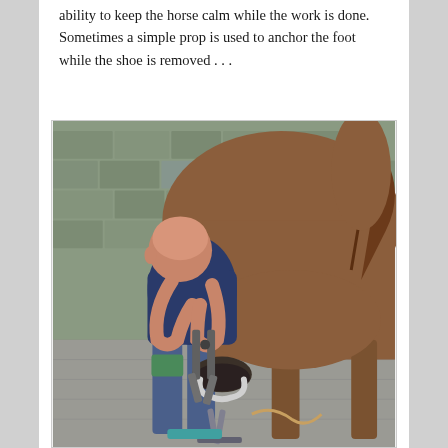ability to keep the horse calm while the work is done. Sometimes a simple prop is used to anchor the foot while the shoe is removed . . .
[Figure (photo): A farrier (bald man in dark blue shirt and jeans with green knee pad) bending over and using metal pincers/tools to remove a horseshoe from the hoof of a brown horse. A metal prop/stand is visible on the floor supporting the hoof. The scene is in a stable with stone walls.]